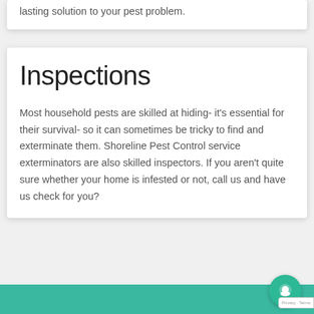lasting solution to your pest problem.
Inspections
Most household pests are skilled at hiding- it's essential for their survival- so it can sometimes be tricky to find and exterminate them. Shoreline Pest Control service exterminators are also skilled inspectors. If you aren't quite sure whether your home is infested or not, call us and have us check for you?